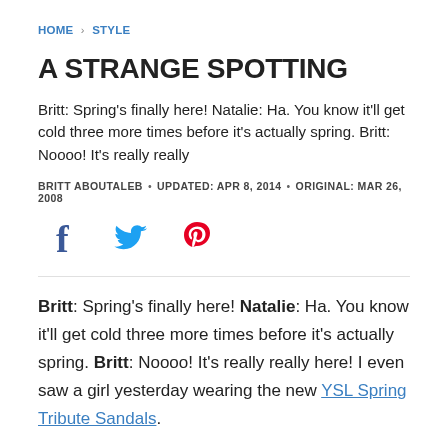HOME > STYLE
A STRANGE SPOTTING
Britt: Spring's finally here! Natalie: Ha. You know it'll get cold three more times before it's actually spring. Britt: Noooo! It's really really
BRITT ABOUTALEB • UPDATED: APR 8, 2014 • ORIGINAL: MAR 26, 2008
[Figure (other): Social sharing icons: Facebook (dark blue), Twitter (blue), Pinterest (red)]
Britt: Spring's finally here! Natalie: Ha. You know it'll get cold three more times before it's actually spring. Britt: Noooo! It's really really here! I even saw a girl yesterday wearing the new YSL Spring Tribute Sandals.